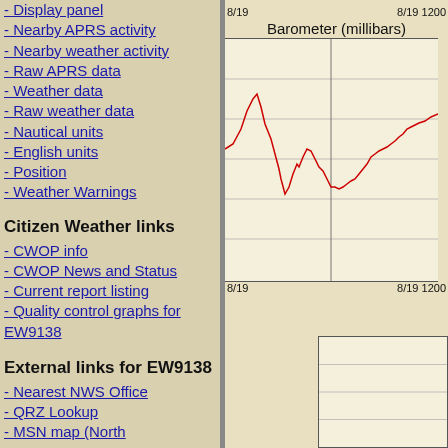- Display panel
- Nearby APRS activity
- Nearby weather activity
- Raw APRS data
- Weather data
- Raw weather data
- Nautical units
- English units
- Position
- Weather Warnings
Citizen Weather links
- CWOP info
- CWOP News and Status
- Current report listing
- Quality control graphs for EW9138
External links for EW9138
- Nearest NWS Office
- QRZ Lookup
- MSN map (North
[Figure (continuous-plot): Line chart showing barometric pressure in millibars over time from 8/19 to 8/19 1200. Red line showing pressure variation with a notable dip and recovery pattern.]
[Figure (other): Partial mini chart at bottom right, mostly empty with horizontal grid lines]